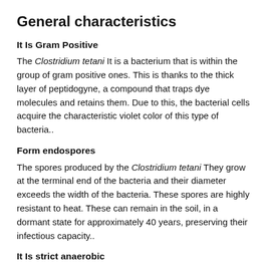General characteristics
It Is Gram Positive
The Clostridium tetani It is a bacterium that is within the group of gram positive ones. This is thanks to the thick layer of peptidogyne, a compound that traps dye molecules and retains them. Due to this, the bacterial cells acquire the characteristic violet color of this type of bacteria..
Form endospores
The spores produced by the Clostridium tetani They grow at the terminal end of the bacteria and their diameter exceeds the width of the bacteria. These spores are highly resistant to heat. These can remain in the soil, in a dormant state for approximately 40 years, preserving their infectious capacity..
It Is strict anaerobic